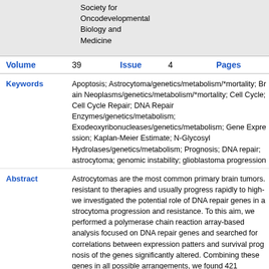Society for Oncodevelopmental Biology and Medicine
| Volume | 39 | Issue | 4 | Pages |
| --- | --- | --- | --- | --- |
Keywords: Apoptosis; Astrocytoma/genetics/metabolism/*mortality; Brain Neoplasms/genetics/metabolism/*mortality; Cell Cycle; Cell Cycle Repair; DNA Repair Enzymes/genetics/metabolism; Exodeoxyribonucleases/genetics/metabolism; Gene Expression; Kaplan-Meier Estimate; N-Glycosyl Hydrolases/genetics/metabolism; Prognosis; DNA repair; astrocytoma; genomic instability; glioblastoma progression
Abstract: Astrocytomas are the most common primary brain tumors. resistant to therapies and usually progress rapidly to high- we investigated the potential role of DNA repair genes in astrocytoma progression and resistance. To this aim, we performed a polymerase chain reaction array-based analysis focused on DNA repair genes and searched for correlations between expression patters and survival prognosis of the genes significantly altered. Combining these genes in all possible arrangements, we found 421 expression signatures strongly associated with poor survival. Importantly, five genes (DDB2, EXO1, NEIL3, BRIP1) were independently correlated with worse prognosis than the multi-gene signatures. Moreover, silencing of EXO1, which is recurrently overexpressed, promoted faster restoration of double-strand breaks, and NEIL3 knockdown, also highly overexpressed, caused an increase in DNA damage and cell death after irradiation of glioblastoma cells. Our results disclose the importance of DNA repair pathways for the maintenance of genomic stability of high-grade astrocytomas and suggest...